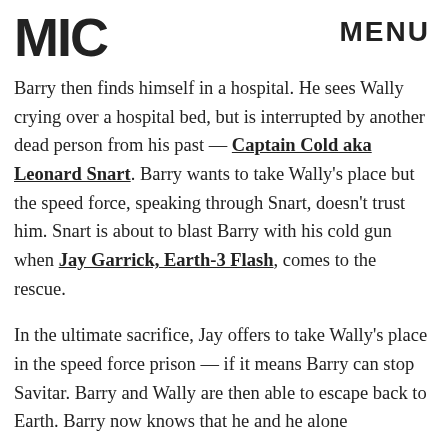MIC   MENU
Barry then finds himself in a hospital. He sees Wally crying over a hospital bed, but is interrupted by another dead person from his past — Captain Cold aka Leonard Snart. Barry wants to take Wally's place but the speed force, speaking through Snart, doesn't trust him. Snart is about to blast Barry with his cold gun when Jay Garrick, Earth-3 Flash, comes to the rescue.
In the ultimate sacrifice, Jay offers to take Wally's place in the speed force prison — if it means Barry can stop Savitar. Barry and Wally are then able to escape back to Earth. Barry now knows that he and he alone